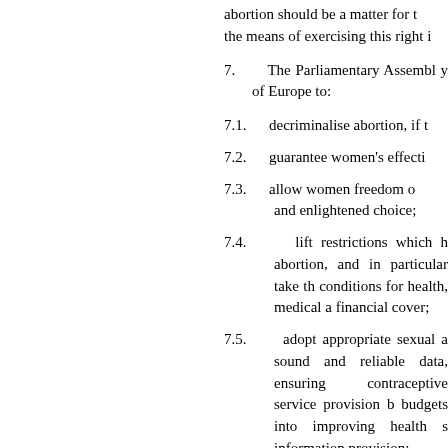abortion should be a matter for the means of exercising this right i
7. The Parliamentary Assembly of Europe to:
7.1. decriminalise abortion, if t
7.2. guarantee women's effecti
7.3. allow women freedom o and enlightened choice;
7.4. lift restrictions which l abortion, and in particular take th conditions for health, medical a financial cover;
7.5. adopt appropriate sexual a sound and reliable data, ensuring contraceptive service provision b budgets into improving health s information provision;
7.6. ensure that women ar reasonable cost, of a suitable natur